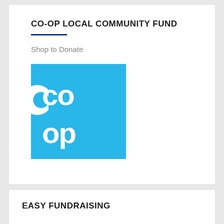CO-OP LOCAL COMMUNITY FUND
Shop to Donate
[Figure (logo): Co-op logo: cyan/light blue square background with white 'co op' text in two rows of two letters each, using rounded chunky lettering]
EASY FUNDRAISING